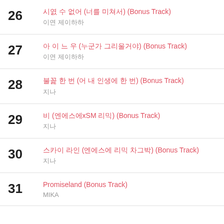26 — [Korean title] (Bonus Track) / [Korean artist]
27 — [Korean title] (Bonus Track) / [Korean artist]
28 — [Korean title] (Bonus Track) / [Korean artist]
29 — [Korean title] (Bonus Track) / [Korean artist]
30 — [Korean title] (Bonus Track) / [Korean artist]
31 — Promiseland (Bonus Track) / MIKA